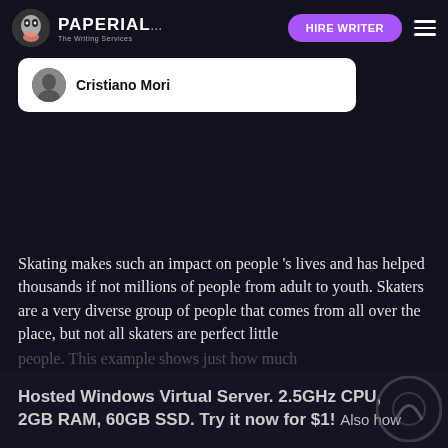PAPERIAL... HIRE WRITER
Cristiano Mori
Skating makes such an impact on people 's lives and has helped thousands if not millions of people from adult to youth. Skaters are a very diverse group of people that comes from all over the place, but not all skaters are perfect little people. This example shows just how much
Hosted Windows Virtual Server. 2.5GHz CPU, 2GB RAM, 60GB SSD. Try it now for $1! Also how